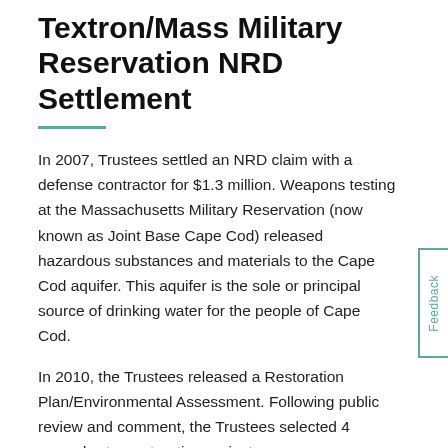Textron/Mass Military Reservation NRD Settlement
In 2007, Trustees settled an NRD claim with a defense contractor for $1.3 million. Weapons testing at the Massachusetts Military Reservation (now known as Joint Base Cape Cod) released hazardous substances and materials to the Cape Cod aquifer. This aquifer is the sole or principal source of drinking water for the people of Cape Cod.
In 2010, the Trustees released a Restoration Plan/Environmental Assessment. Following public review and comment, the Trustees selected 4 groundwater restoration projects:
2 projects conserved 19 acres of land in Sandwich